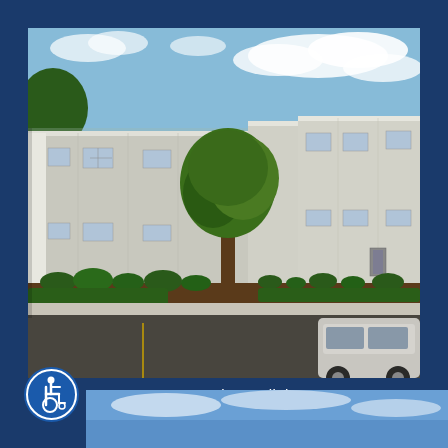[Figure (photo): Exterior photo of St. Petersburg Clinic — a two-story white/gray metal panel commercial building with landscaped shrubs in front, a large tree in the center, and a parking lot with a white car visible at right. Blue sky with clouds in background.]
St. Petersburg Clinic
[Figure (logo): International Symbol of Access (wheelchair accessibility icon) — white figure in wheelchair on blue circular background.]
[Figure (photo): Partial bottom strip showing blue sky — bottom portion of another clinic photo.]